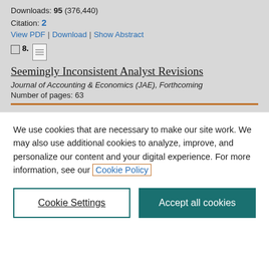Downloads: 95 (376,440)
Citation: 2
View PDF | Download | Show Abstract
8.
Seemingly Inconsistent Analyst Revisions
Journal of Accounting & Economics (JAE), Forthcoming
Number of pages: 63
We use cookies that are necessary to make our site work. We may also use additional cookies to analyze, improve, and personalize our content and your digital experience. For more information, see our Cookie Policy
Cookie Settings
Accept all cookies